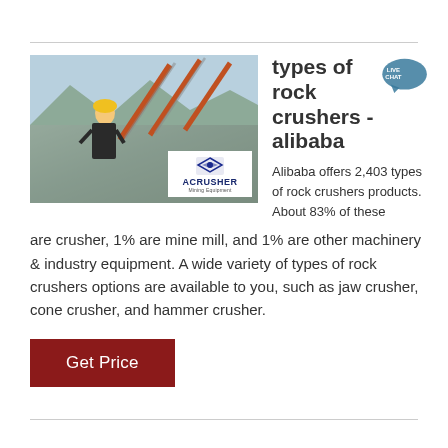[Figure (photo): Industrial rock crusher facility with a woman in a yellow hard hat standing in front of large orange conveyor structures and machinery. An ACRUSHER Mining Equipment logo overlay is in the bottom-right of the photo.]
types of rock crushers - alibaba
Alibaba offers 2,403 types of rock crushers products. About 83% of these are crusher, 1% are mine mill, and 1% are other machinery & industry equipment. A wide variety of types of rock crushers options are available to you, such as jaw crusher, cone crusher, and hammer crusher.
Get Price